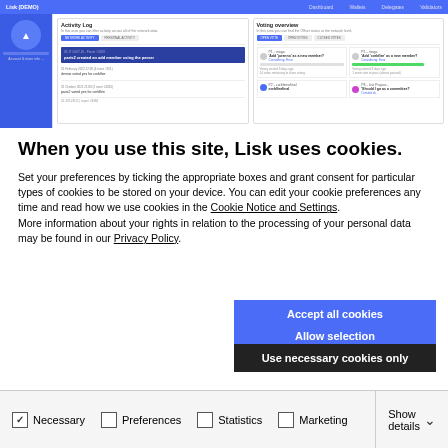[Figure (screenshot): Screenshot of Lisk website showing Activity Log and Voting overview panels with blue navigation bar]
When you use this site, Lisk uses cookies.
Set your preferences by ticking the appropriate boxes and grant consent for particular types of cookies to be stored on your device. You can edit your cookie preferences any time and read how we use cookies in the Cookie Notice and Settings. More information about your rights in relation to the processing of your personal data may be found in our Privacy Policy.
Accept all cookies
Allow selection
Use necessary cookies only
Necessary   Preferences   Statistics   Marketing   Show details